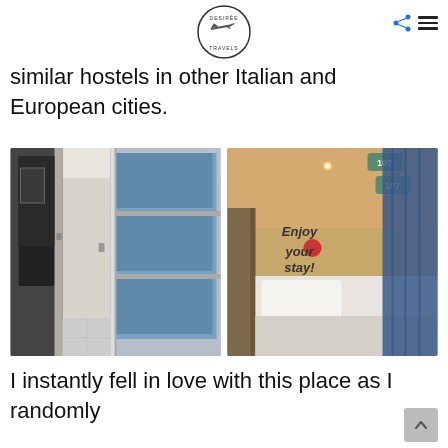[Figure (logo): Desirée Travels oval logo with airplane illustration]
similar hostels in other Italian and European cities.
[Figure (photo): Hallway of a hostel with pod-style bunk beds with blue curtains]
[Figure (photo): Interior of a hostel sleeping pod with 'Enjoy your stay!' text on the wall, white pillow and blue curtain]
I instantly fell in love with this place as I randomly